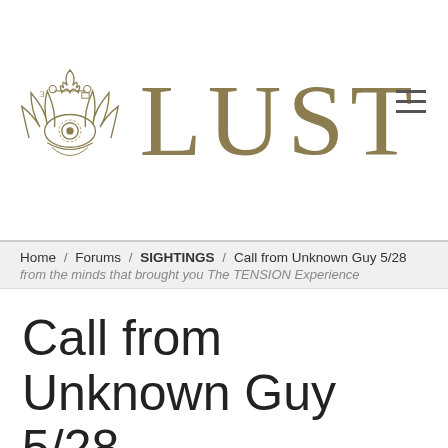[Figure (logo): LUST forum website header with ornate golden emblem (winged eye with flame and keys) on the left and large gold serif 'LUST' text in center, hamburger menu icon on right]
Home / Forums / SIGHTINGS / Call from Unknown Guy 5/28
from the minds that brought you The TENSION Experience
Call from Unknown Guy 5/28
POSTS
MAY 28, 2017 AT 10:15 PM
#15187